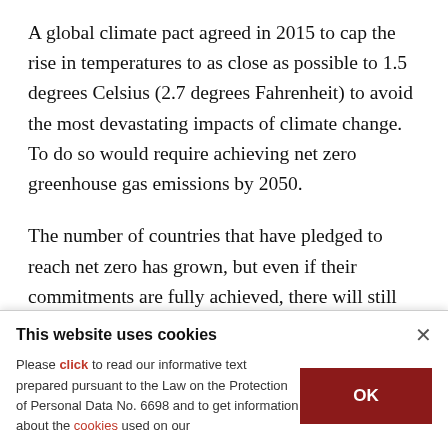A global climate pact agreed in 2015 to cap the rise in temperatures to as close as possible to 1.5 degrees Celsius (2.7 degrees Fahrenheit) to avoid the most devastating impacts of climate change. To do so would require achieving net zero greenhouse gas emissions by 2050.
The number of countries that have pledged to reach net zero has grown, but even if their commitments are fully achieved, there will still be
This website uses cookies
Please click to read our informative text prepared pursuant to the Law on the Protection of Personal Data No. 6698 and to get information about the cookies used on our